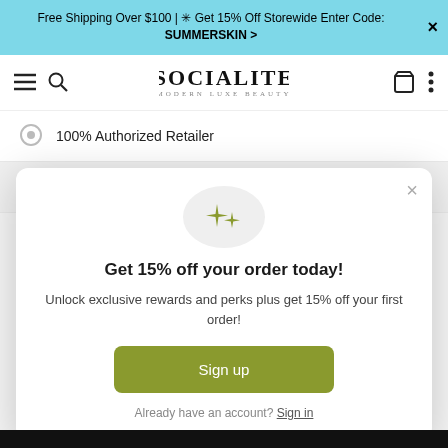Free Shipping Over $100 | ✳ Get 15% Off Storewide Enter Code: SUMMERSKIN >
[Figure (logo): Socialite Modern Luxe Beauty logo in black serif font]
100% Authorized Retailer
Read Customer Reviews
[Figure (screenshot): Modal popup with sparkle icon, 'Get 15% off your order today!' heading, body text, Sign up button, and sign in link]
Get 15% off your order today!
Unlock exclusive rewards and perks plus get 15% off your first order!
Sign up
Already have an account? Sign in